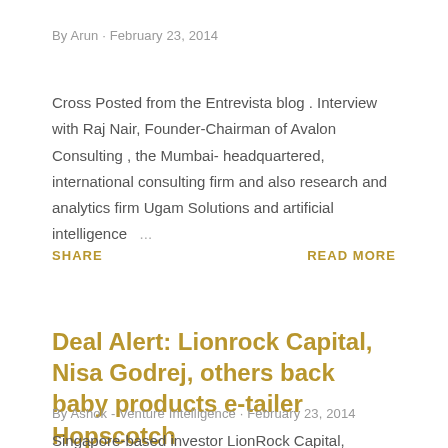By Arun · February 23, 2014
Cross Posted from the Entrevista blog . Interview with Raj Nair, Founder-Chairman of Avalon Consulting , the Mumbai-headquartered, international consulting firm and also research and analytics firm Ugam Solutions and artificial intelligence …
SHARE
READ MORE
Deal Alert: Lionrock Capital, Nisa Godrej, others back baby products e-tailer Hopscotch
By Ashok - Venture Intelligence · February 23, 2014
Singapore-based investor LionRock Capital, besides Industrialist